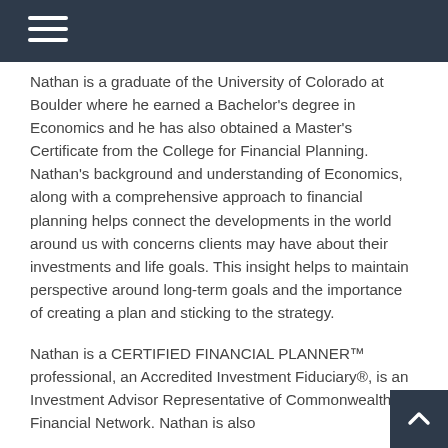Nathan is a graduate of the University of Colorado at Boulder where he earned a Bachelor's degree in Economics and he has also obtained a Master's Certificate from the College for Financial Planning. Nathan's background and understanding of Economics, along with a comprehensive approach to financial planning helps connect the developments in the world around us with concerns clients may have about their investments and life goals. This insight helps to maintain perspective around long-term goals and the importance of creating a plan and sticking to the strategy.
Nathan is a CERTIFIED FINANCIAL PLANNER™ professional, an Accredited Investment Fiduciary®, is an Investment Advisor Representative of Commonwealth Financial Network. Nathan is also